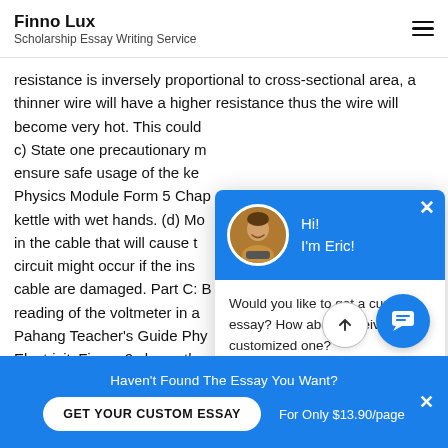Finno Lux
Scholarship Essay Writing Service
resistance is inversely proportional to cross-sectional area, a thinner wire will have a higher resistance thus the wire will become very hot. This could c) State one precautionary ensure safe usage of the ke Physics Module Form 5 Chap kettle with wet hands. (d) M in the cable that will cause t circuit might occur if the ins cable are damaged. Part C: B reading of the voltmeter in a Pahang Teacher's Guide Phy ElectricityFigure 2 shows th What is meant by electromotive force (e. m. f.) of a ba Referring to figure (a) and figure (b), compare the state of
[Figure (other): Chat popup widget with blue header showing avatar of Eric, greeting 'Hi! I'm Eric!', message about custom essay, and 'Check it out' link]
[Figure (other): Blue circle chat bubble button with speech icon]
[Figure (other): White circle scroll-to-top button with upward arrow]
Haven't Found The Essay You Want?
GET YOUR CUSTOM ESSAY    For Only $13.90/page